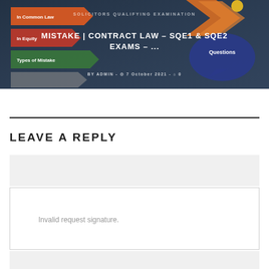[Figure (screenshot): Banner image for a legal blog post about Mistake in Contract Law for SQE1 and SQE2 exams. Shows colorful arrows with labels 'In Common Law', 'In Equity', 'Types of Mistake' and a blue speech bubble with 'Questions'. Text overlay reads 'SOLICITORS QUALIFYING EXAMINATION' and 'MISTAKE | CONTRACT LAW – SQE1 & SQE2 EXAMS – ...' with meta info 'BY ADMIN - 7 October 2021 - 0 comments'.]
LEAVE A REPLY
Invalid request signature.